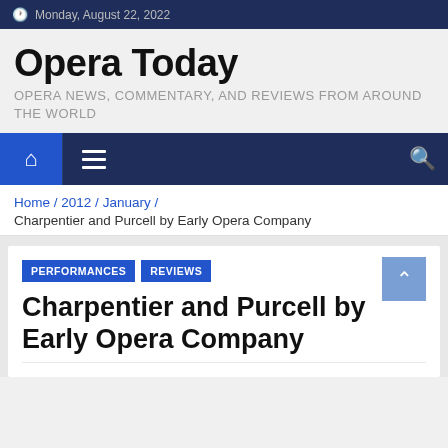Monday, August 22, 2022
Opera Today
OPERA NEWS, COMMENTARY, AND REVIEWS FROM AROUND THE WORLD
Home / 2012 / January /
Charpentier and Purcell by Early Opera Company
Charpentier and Purcell by Early Opera Company